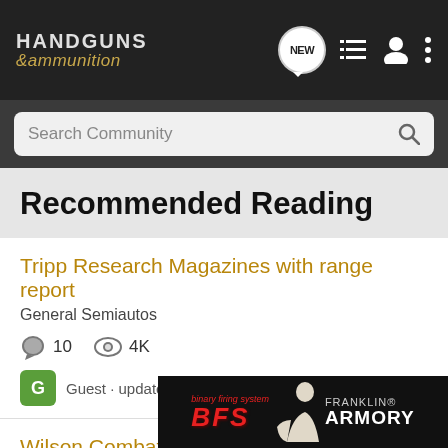HANDGUNS &ammunition
Search Community
Recommended Reading
Tripp Research Magazines with range report
General Semiautos
10  4K
Guest · updated Jan 17, 2005
Wilson Combat Mags
The Venerable 1911
30
roa...
[Figure (photo): Franklin Armory advertisement with shooter and BFS logo]